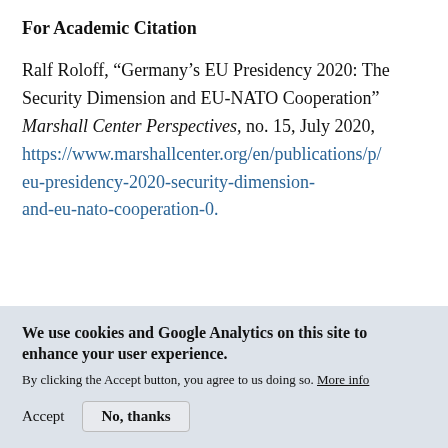For Academic Citation
Ralf Roloff, “Germany’s EU Presidency 2020: The Security Dimension and EU-NATO Cooperation” Marshall Center Perspectives, no. 15, July 2020, https://www.marshallcenter.org/en/publications/p/eu-presidency-2020-security-dimension-and-eu-nato-cooperation-0.
We use cookies and Google Analytics on this site to enhance your user experience.
By clicking the Accept button, you agree to us doing so. More info
Accept   No, thanks